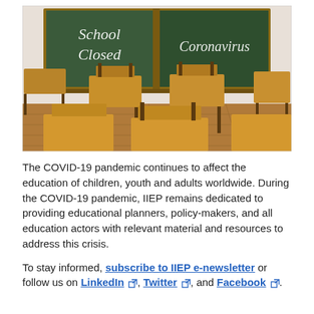[Figure (photo): Photograph of an empty classroom with wooden student desks and chairs, and two green chalkboards at the front. The left chalkboard reads 'School Closed' in cursive chalk lettering, and the right chalkboard reads 'Coronavirus' in cursive chalk lettering.]
The COVID-19 pandemic continues to affect the education of children, youth and adults worldwide. During the COVID-19 pandemic, IIEP remains dedicated to providing educational planners, policy-makers, and all education actors with relevant material and resources to address this crisis.
To stay informed, subscribe to IIEP e-newsletter or follow us on LinkedIn, Twitter, and Facebook.